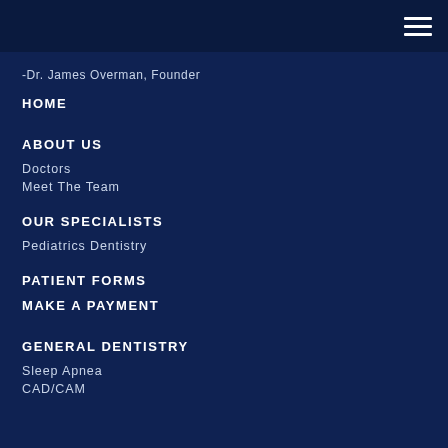≡
-Dr. James Overman, Founder
HOME
ABOUT US
Doctors
Meet The Team
OUR SPECIALISTS
Pediatrics Dentistry
PATIENT FORMS
MAKE A PAYMENT
GENERAL DENTISTRY
Sleep Apnea
CAD/CAM